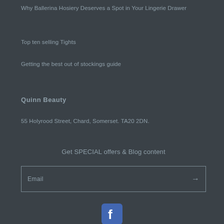Why Ballerina Hosiery Deserves a Spot in Your Lingerie Drawer
Top ten selling Tights
Getting the best out of stockings guide
Quinn Beauty
55 Holyrood Street, Chard, Somerset. TA20 2DN.
Get SPECIAL offers & Blog content
Email
[Figure (logo): Facebook logo icon in a rounded square]